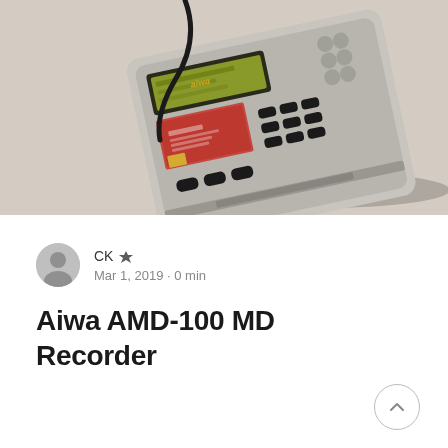[Figure (photo): Photo of an Aiwa AMD-100 MD Recorder (MiniDisc recorder), silver/gray colored device with LCD display, multiple buttons arranged in rows, and a cable attached, photographed on a beige/cream surface from above at a slight angle.]
CK ▼ Mar 1, 2019 · 0 min
Aiwa AMD-100 MD Recorder